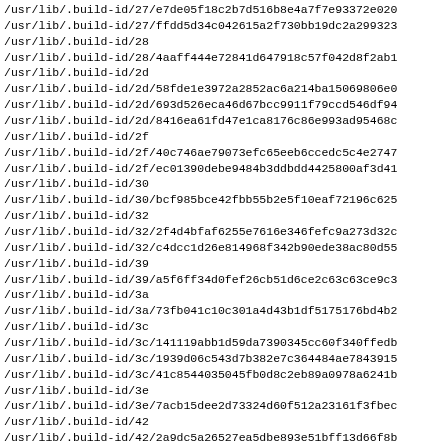/usr/lib/.build-id/27/e7de05f18c2b7d516b8e4a7f7e93372e020
/usr/lib/.build-id/27/ffdd5d34c042615a2f730bb19dc2a299323
/usr/lib/.build-id/28
/usr/lib/.build-id/28/4aaff444e72841d647918c57f042d8f2ab1
/usr/lib/.build-id/2d
/usr/lib/.build-id/2d/58fde1e3972a2852ac6a214ba15069806e0
/usr/lib/.build-id/2d/693d526eca46d67bcc9911f79ccd546df94
/usr/lib/.build-id/2d/8416ea61fd47e1ca8176c86e993ad95468c
/usr/lib/.build-id/2f
/usr/lib/.build-id/2f/40c746ae79073efc65eeb6ccedc5c4e2747
/usr/lib/.build-id/2f/ec01390debe9484b3ddbdd4425800af3d41
/usr/lib/.build-id/30
/usr/lib/.build-id/30/bcf985bce42fbb55b2e5f10eaf72196c625
/usr/lib/.build-id/32
/usr/lib/.build-id/32/2f4d4bfaf6255e7616e346fefc9a273d32c
/usr/lib/.build-id/32/c4dcc1d26e814968f342b90ede38ac80d55
/usr/lib/.build-id/39
/usr/lib/.build-id/39/a5f6ff34d0fef26cb51d6ce2c63c63ce9c3
/usr/lib/.build-id/3a
/usr/lib/.build-id/3a/73fb041c10c301a4d43b1df5175176bd4b2
/usr/lib/.build-id/3c
/usr/lib/.build-id/3c/141119abb1d59da7390345cc60f340ffedb
/usr/lib/.build-id/3c/1939d06c543d7b382e7c364484ae7843915
/usr/lib/.build-id/3c/41c8544035045fb0d8c2eb89a0978a6241b
/usr/lib/.build-id/3e
/usr/lib/.build-id/3e/7acb15dee2d73324d60f512a23161f3fbec
/usr/lib/.build-id/42
/usr/lib/.build-id/42/2a9dc5a26527ea5dbe893e51bff13d66f8b
/usr/lib/.build-id/42/99471cd5d7b502983b63dea73ecdb11fd88
/usr/lib/.build-id/42/e4076e518ff5942fcd0724206b1cea0a6